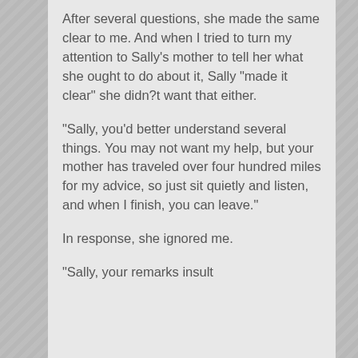After several questions, she made the same clear to me. And when I tried to turn my attention to Sally's mother to tell her what she ought to do about it, Sally "made it clear" she didn?t want that either.
"Sally, you'd better understand several things. You may not want my help, but your mother has traveled over four hundred miles for my advice, so just sit quietly and listen, and when I finish, you can leave."
In response, she ignored me.
"Sally, your remarks insult